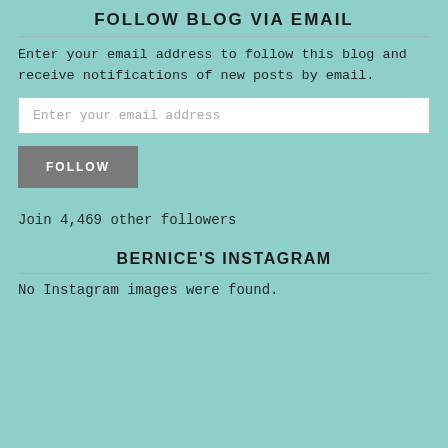FOLLOW BLOG VIA EMAIL
Enter your email address to follow this blog and receive notifications of new posts by email.
Enter your email address
FOLLOW
Join 4,469 other followers
BERNICE'S INSTAGRAM
No Instagram images were found.